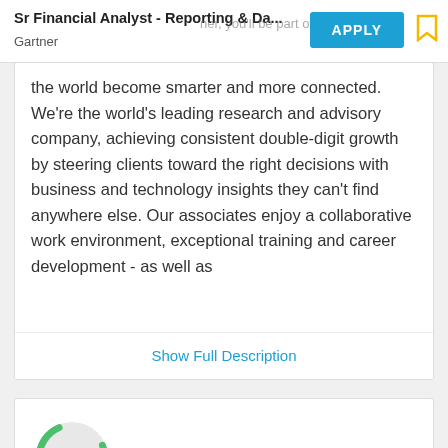Sr Financial Analyst - Reporting & Da... | Gartner
the world become smarter and more connected. We're the world's leading research and advisory company, achieving consistent double-digit growth by steering clients toward the right decisions with business and technology insights they can't find anywhere else. Our associates enjoy a collaborative work environment, exceptional training and career development - as well as
Show Full Description
See how you match to the job
Resume Examples
Resume Templates
Resume Builder